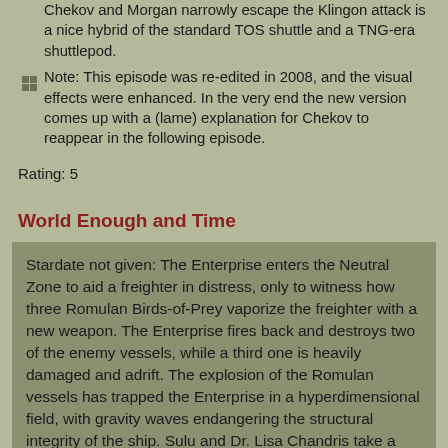Chekov and Morgan narrowly escape the Klingon attack is a nice hybrid of the standard TOS shuttle and a TNG-era shuttlepod.
Note: This episode was re-edited in 2008, and the visual effects were enhanced. In the very end the new version comes up with a (lame) explanation for Chekov to reappear in the following episode.
Rating: 5
World Enough and Time
Stardate not given: The Enterprise enters the Neutral Zone to aid a freighter in distress, only to witness how three Romulan Birds-of-Prey vaporize the freighter with a new weapon. The Enterprise fires back and destroys two of the enemy vessels, while a third one is heavily damaged and adrift. The explosion of the Romulan vessels has trapped the Enterprise in a hyperdimensional field, with gravity waves endangering the structural integrity of the ship. Sulu and Dr. Lisa Chandris take a shuttle to retrieve data on the Romulan weapon from the